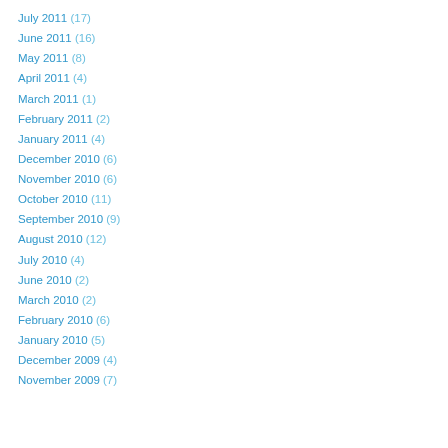July 2011 (17)
June 2011 (16)
May 2011 (8)
April 2011 (4)
March 2011 (1)
February 2011 (2)
January 2011 (4)
December 2010 (6)
November 2010 (6)
October 2010 (11)
September 2010 (9)
August 2010 (12)
July 2010 (4)
June 2010 (2)
March 2010 (2)
February 2010 (6)
January 2010 (5)
December 2009 (4)
November 2009 (7)